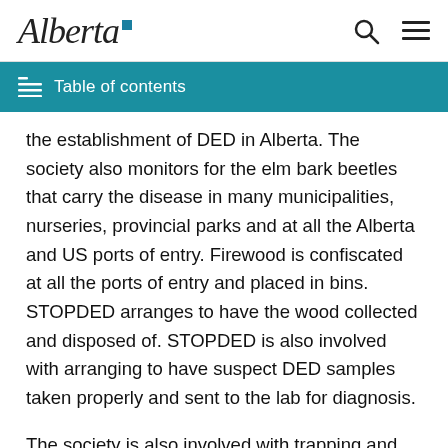Alberta [logo]
Table of contents
the establishment of DED in Alberta. The society also monitors for the elm bark beetles that carry the disease in many municipalities, nurseries, provincial parks and at all the Alberta and US ports of entry. Firewood is confiscated at all the ports of entry and placed in bins. STOPDED arranges to have the wood collected and disposed of. STOPDED is also involved with arranging to have suspect DED samples taken properly and sent to the lab for diagnosis.
The society is also involved with trapping and public awareness on the Emerald ash borer. Emerald ash